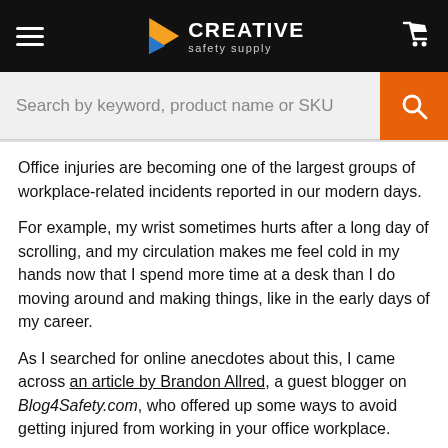Creative Safety Supply — hamburger menu, logo, cart icon
[Figure (screenshot): Search bar with placeholder text 'Search by keyword, product name or SKU' and orange search button]
Office injuries are becoming one of the largest groups of workplace-related incidents reported in our modern days.
For example, my wrist sometimes hurts after a long day of scrolling, and my circulation makes me feel cold in my hands now that I spend more time at a desk than I do moving around and making things, like in the early days of my career.
As I searched for online anecdotes about this, I came across an article by Brandon Allred, a guest blogger on Blog4Safety.com, who offered up some ways to avoid getting injured from working in your office workplace.
"#1: The chair that you sit in can make all the difference. It can cause or prevent damage. Your chair should be designed